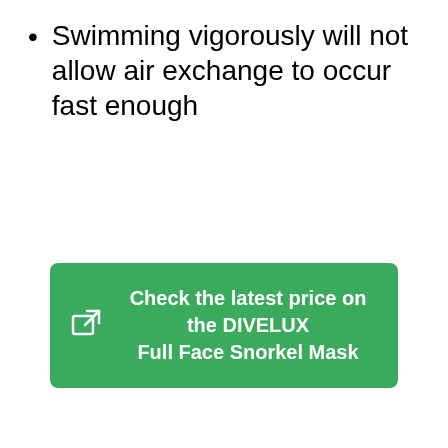Swimming vigorously will not allow air exchange to occur fast enough
Check the latest price on the DIVELUX Full Face Snorkel Mask